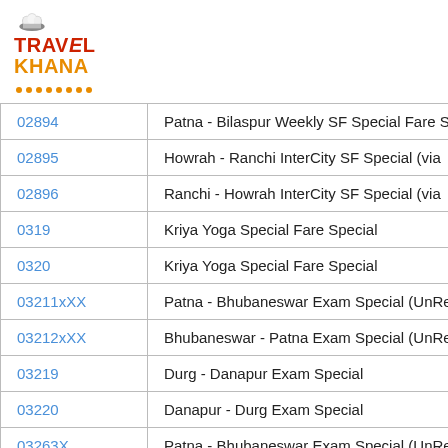[Figure (logo): TravelKhana logo with chef hat icon, red TRAVEL text and orange KHANA text with orange dots underline]
| Code | Name |
| --- | --- |
| 02894 | Patna - Bilaspur Weekly SF Special Fare S |
| 02895 | Howrah - Ranchi InterCity SF Special (via |
| 02896 | Ranchi - Howrah InterCity SF Special (via |
| 0319 | Kriya Yoga Special Fare Special |
| 0320 | Kriya Yoga Special Fare Special |
| 03211xXX | Patna - Bhubaneswar Exam Special (UnRe |
| 03212xXX | Bhubaneswar - Patna Exam Special (UnRe |
| 03219 | Durg - Danapur Exam Special |
| 03220 | Danapur - Durg Exam Special |
| 03263X | Patna - Bhubaneswar Exam Special (UnRe |